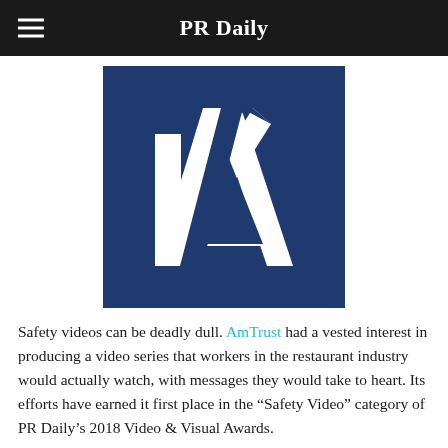PR Daily
[Figure (logo): AmTrust logo: dark navy blue square background with a large white stylized letter A and a diagonal slash element]
Safety videos can be deadly dull. AmTrust had a vested interest in producing a video series that workers in the restaurant industry would actually watch, with messages they would take to heart. Its efforts have earned it first place in the “Safety Video” category of PR Daily’s 2018 Video & Visual Awards.